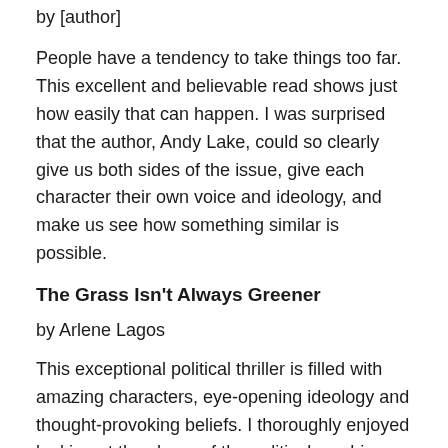by [author]
People have a tendency to take things too far. This excellent and believable read shows just how easily that can happen. I was surprised that the author, Andy Lake, could so clearly give us both sides of the issue, give each character their own voice and ideology, and make us see how something similar is possible.
The Grass Isn't Always Greener
by Arlene Lagos
This exceptional political thriller is filled with amazing characters, eye-opening ideology and thought-provoking beliefs. I thoroughly enjoyed looking at the chaos of the political machine from this perspective.
A Darker Shade of Green